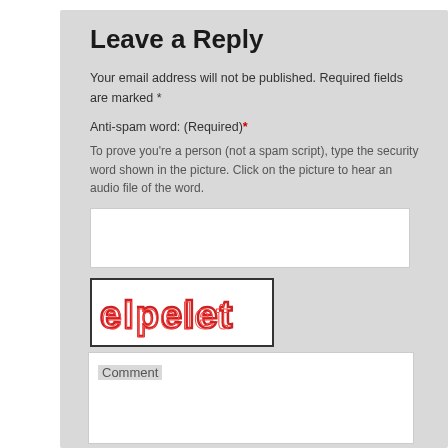Leave a Reply
Your email address will not be published. Required fields are marked *
Anti-spam word: (Required)*
To prove you're a person (not a spam script), type the security word shown in the picture. Click on the picture to hear an audio file of the word.
[Figure (other): Text input box for anti-spam word]
[Figure (other): CAPTCHA image showing the word 'elpelet' in red outlined letters on white background]
Comment